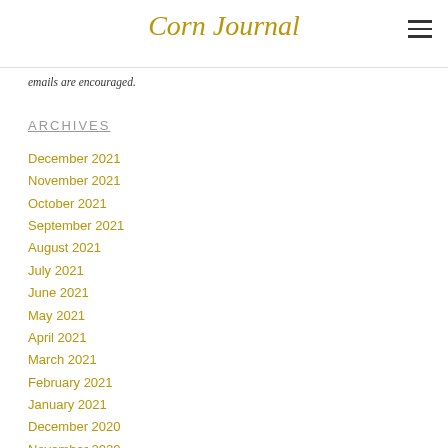Corn Journal
emails are encouraged.
ARCHIVES
December 2021
November 2021
October 2021
September 2021
August 2021
July 2021
June 2021
May 2021
April 2021
March 2021
February 2021
January 2021
December 2020
November 2020